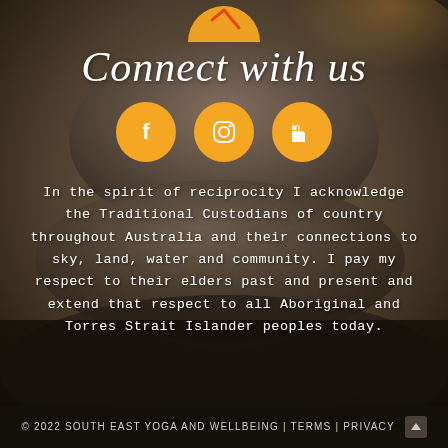Connect with us
[Figure (illustration): Three orange circular social media icons: Facebook, Instagram, LinkedIn]
In the spirit of reciprocity I acknowledge the Traditional Custodians of country throughout Australia and their connections to sky, land, water and community. I pay my respect to their elders past and present and extend that respect to all Aboriginal and Torres Strait Islander peoples today.
© 2022 SOUTH EAST YOGA AND WELLBEING | TERMS | PRIVACY